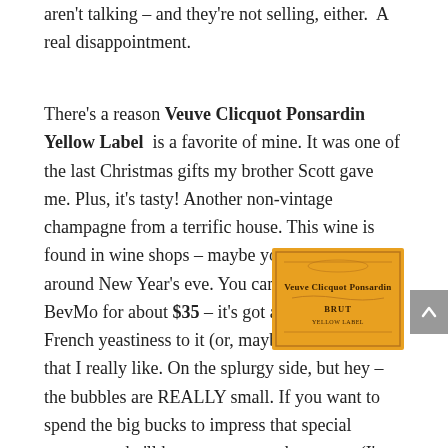aren't talking – and they're not selling, either. A real disappointment.
There's a reason Veuve Clicquot Ponsardin Yellow Label is a favorite of mine. It was one of the last Christmas gifts my brother Scott gave me. Plus, it's tasty! Another non-vintage champagne from a terrific house. This wine is found in wine shops – maybe your grocery store around New Year's eve. You can also find this at BevMo for about $35 – it's got a traditional, French yeastiness to it (or, maybe that's just me) that I really like. On the splurgy side, but hey – the bubbles are REALLY small. If you want to spend the big bucks to impress that special someone who'll know you spent the money (I'm talking between $120-$150 per bottle), then you
[Figure (illustration): Veuve Clicquot Ponsardin Brut Yellow Label wine bottle label — orange/yellow rectangular label with dark text reading 'Veuve Clicquot Ponsardin' and 'BRUT']